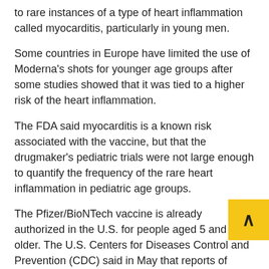to rare instances of a type of heart inflammation called myocarditis, particularly in young men.
Some countries in Europe have limited the use of Moderna's shots for younger age groups after some studies showed that it was tied to a higher risk of the heart inflammation.
The FDA said myocarditis is a known risk associated with the vaccine, but that the drugmaker's pediatric trials were not large enough to quantify the frequency of the rare heart inflammation in pediatric age groups.
The Pfizer/BioNTech vaccine is already authorized in the U.S. for people aged 5 and older. The U.S. Centers for Diseases Control and Prevention (CDC) said in May that reports of myocarditis after that vaccine have been much lower in 5- to 11-year-old boys than in adolescents and young men, representing only a slightly elevated rate above normal. read more
Read more for FREE daily health news...